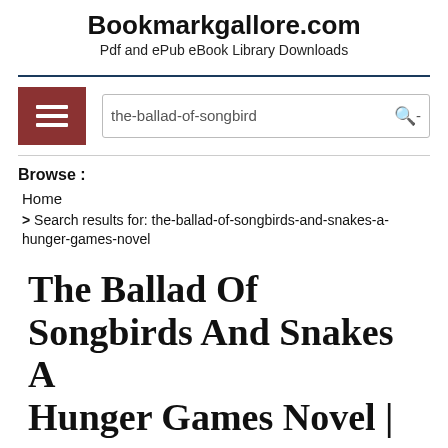Bookmarkgallore.com
Pdf and ePub eBook Library Downloads
[Figure (screenshot): Hamburger menu button (dark red/maroon square with three white horizontal lines)]
the-ballad-of-songbird🔍
Browse :
Home
> Search results for: the-ballad-of-songbirds-and-snakes-a-hunger-games-novel
The Ballad Of Songbirds And Snakes A Hunger Games Novel |